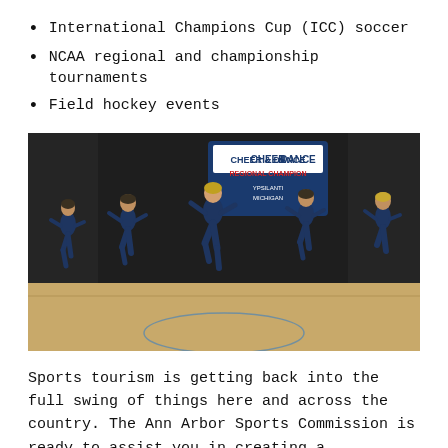International Champions Cup (ICC) soccer
NCAA regional and championship tournaments
Field hockey events
[Figure (photo): Dancers in navy blue uniforms performing on an indoor basketball court at a Cheer & Dance regional championship event in Ypsilanti, Michigan. Multiple female dancers are shown mid-routine with one leg raised, wearing matching dark outfits with embellishments.]
Sports tourism is getting back into the full swing of things here and across the country. The Ann Arbor Sports Commission is ready to assist you in creating a